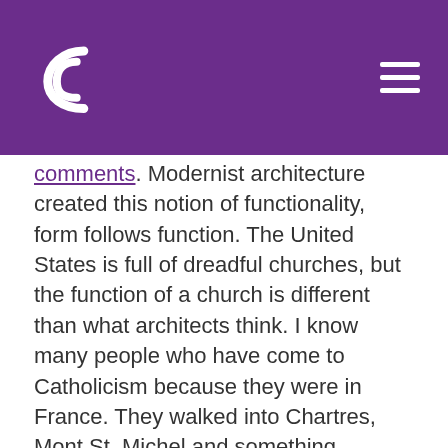[Logo] [Navigation menu]
comments. Modernist architecture created this notion of functionality, form follows function. The United States is full of dreadful churches, but the function of a church is different than what architects think. I know many people who have come to Catholicism because they were in France. They walked into Chartres, Mont St. Michel and something happened in them that they did not understand. They felt something happening inside this space that was not happening in the outer world. That is the purpose of a cathedral. A purpose of a cathedral is to bring you